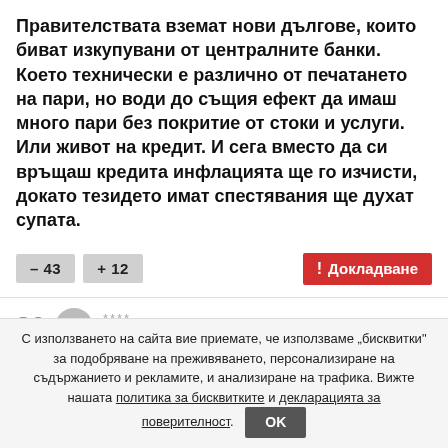Правителствата вземат нови дългове, които биват изкупувани от централните банки. Което технически е различно от печатането на пари, но води до същия ефект да имаш много пари без покритие от стоки и услуги. Или живот на кредит. И сега вместо да си връщаш кредита инфлацията ще го изчисти, докато тезидето имат спестявания ще духат супата.
– 43  + 12  ! Докладване
**** 09:41, 9 май, '22
36
Коментарът беше изтрит от модераторите, защото съдържаше обидни или нецензурни квалификации. обиди
С използването на сайта вие приемате, че използваме „бисквитки" за подобряване на преживяването, персонализиране на съдържанието и рекламите, и анализиране на трафика. Вижте нашата политика за бисквитките и декларацията за поверителност.